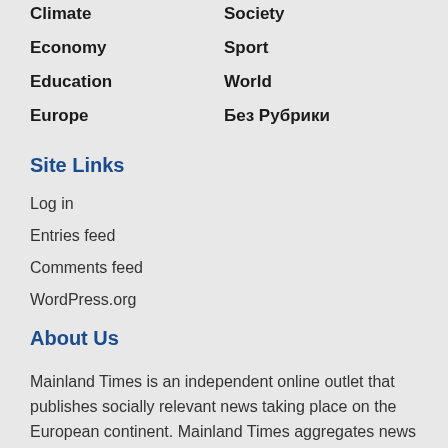Climate
Society
Economy
Sport
Education
World
Europe
Без Рубрики
Site Links
Log in
Entries feed
Comments feed
WordPress.org
About Us
Mainland Times is an independent online outlet that publishes socially relevant news taking place on the European continent. Mainland Times aggregates news from several sources, and also provides coverage through a network of local correspondents.